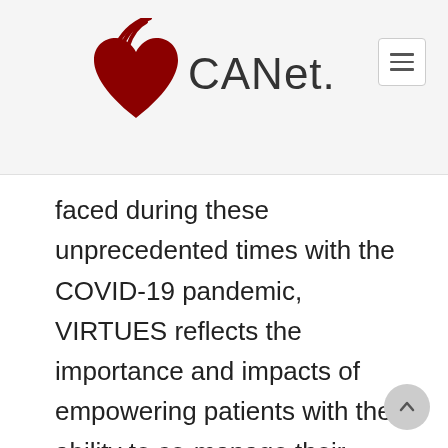[Figure (logo): CANet logo with a dark red heart icon with curved signal lines above it, followed by the text 'CANet.' in dark grey]
faced during these unprecedented times with the COVID-19 pandemic, VIRTUES reflects the importance and impacts of empowering patients with the ability to co-manage their health by using this virtual care platform.
VIRTUES, constructed with the utmost in privacy and security safeguards, is a leading-edge data platform that provides patients with a cloud-based electronic